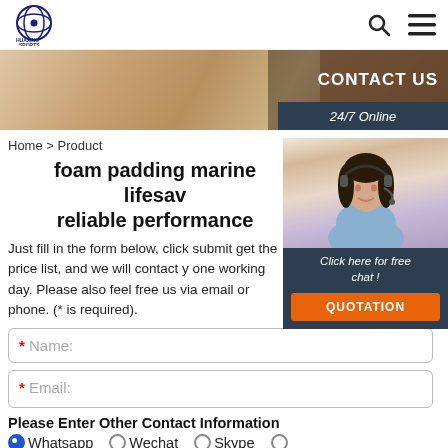HUAXING SPORTS
[Figure (screenshot): Banner image showing hands on a table and CONTACT US overlay with 24/7 Online badge]
Home > Product
foam padding marine lifesav reliable performance
Just fill in the form below, click submit get the price list, and we will contact you within one working day. Please also feel free to contact us via email or phone. (* is required).
* Name:
* Email:
Please Enter Other Contact Information
Whatsapp  Wechat  Skype